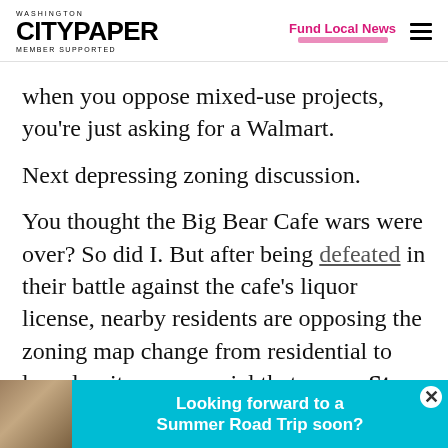WASHINGTON CITYPAPER MEMBER SUPPORTED | Fund Local News
when you oppose mixed-use projects, you're just asking for a Walmart.
Next depressing zoning discussion.
You thought the Big Bear Cafe wars were over? So did I. But after being defeated in their battle against the cafe's liquor license, nearby residents are opposing the zoning map change from residential to low-density commercial that owner Stu
[Figure (infographic): Advertisement banner: Looking forward to a Summer Road Trip soon? with photo of people in a vehicle on the left side, teal/cyan background.]